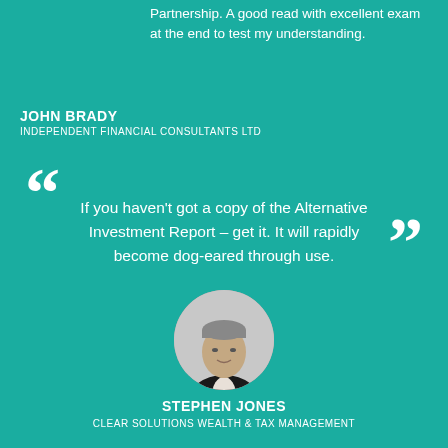Partnership. A good read with excellent exam at the end to test my understanding.
JOHN BRADY
INDEPENDENT FINANCIAL CONSULTANTS LTD
If you haven't got a copy of the Alternative Investment Report – get it. It will rapidly become dog-eared through use.
[Figure (photo): Circular headshot photo of Stephen Jones, a middle-aged man in a dark suit, black and white image]
STEPHEN JONES
CLEAR SOLUTIONS WEALTH & TAX MANAGEMENT